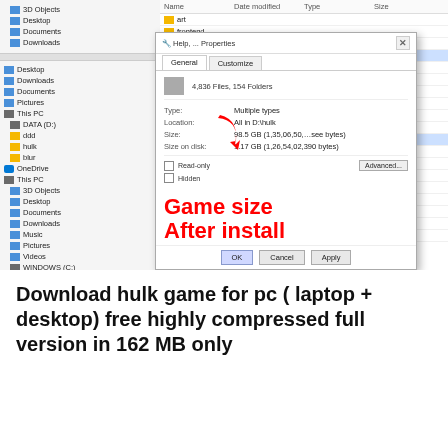[Figure (screenshot): Windows File Explorer screenshot showing a movies folder selected with a Properties dialog open. The dialog shows 4,836 Files, 154 Folders, Size highlighted in green, Size on disk: 1.17 GB. Overlaid red bold text reads 'Game size After install'.]
Download hulk game for pc ( laptop + desktop) free highly compressed full version in 162 MB only